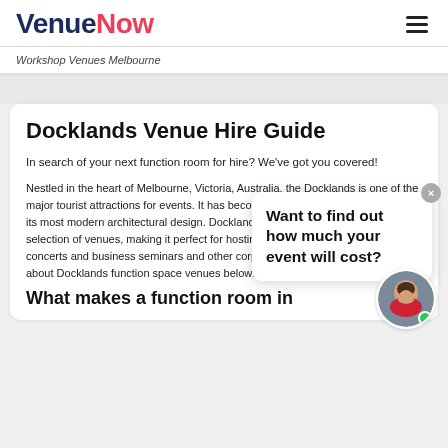VenueNow
Workshop Venues Melbourne
Docklands Venue Hire Guide
In search of your next function room for hire? We've got you covered!
Nestled in the heart of Melbourne, Victoria, Australia, the Docklands is one of the major tourist attractions for events. It has become an iconic landmark known for its most modern architectural design. Docklands' charm lies in its diverse selection of venues, making it perfect for hosting weddings, parties, musical concerts and business seminars and other corporate functions. Learn more about Docklands function space venues below:
[Figure (other): Chat popup widget with text 'Want to find out how much your event will cost?' and an avatar of a woman in red]
What makes a function room in